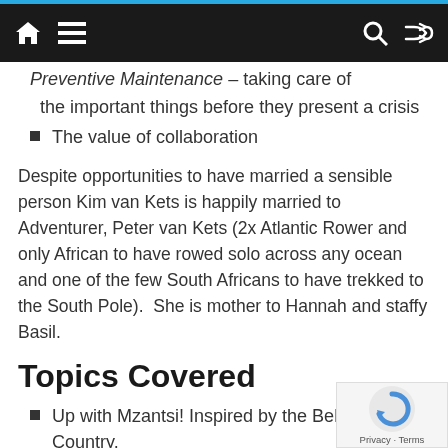Navigation bar with home, menu, search, and shuffle icons
the important things before they present a crisis
The value of collaboration
Despite opportunities to have married a sensible person Kim van Kets is happily married to Adventurer, Peter van Kets (2x Atlantic Rower and only African to have rowed solo across any ocean and one of the few South Africans to have trekked to the South Pole).  She is mother to Hannah and staffy Basil.
Topics Covered
Up with Mzantsi! Inspired by the Beloved Country.
A goal is a dream with a plan and a deadline!